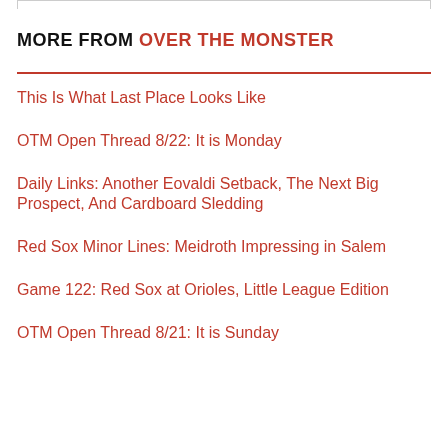MORE FROM OVER THE MONSTER
This Is What Last Place Looks Like
OTM Open Thread 8/22: It is Monday
Daily Links: Another Eovaldi Setback, The Next Big Prospect, And Cardboard Sledding
Red Sox Minor Lines: Meidroth Impressing in Salem
Game 122: Red Sox at Orioles, Little League Edition
OTM Open Thread 8/21: It is Sunday